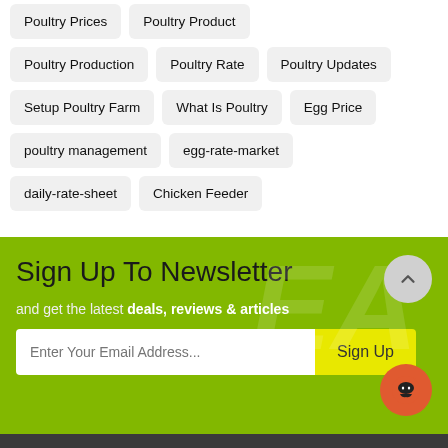Poultry Prices
Poultry Product
Poultry Production
Poultry Rate
Poultry Updates
Setup Poultry Farm
What Is Poultry
Egg Price
poultry management
egg-rate-market
daily-rate-sheet
Chicken Feeder
Sign Up To Newsletter
and get the latest deals, reviews & articles
Enter Your Email Address...
Sign Up